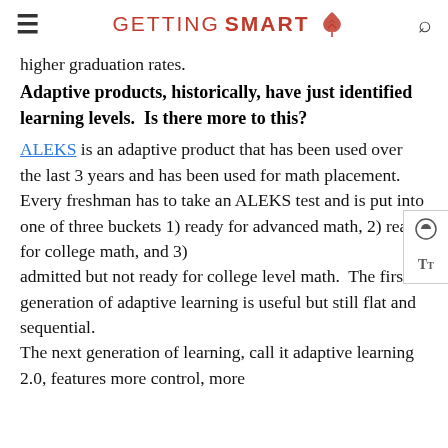GETTING SMART
higher graduation rates.
Adaptive products, historically, have just identified learning levels.  Is there more to this?
ALEKS is an adaptive product that has been used over the last 3 years and has been used for math placement. Every freshman has to take an ALEKS test and is put into one of three buckets 1) ready for advanced math, 2) ready for college math, and 3) admitted but not ready for college level math. The first generation of adaptive learning is useful but still flat and sequential. The next generation of learning, call it adaptive learning 2.0, features more control, more